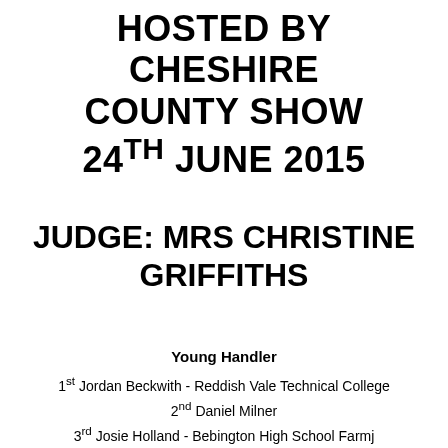HOSTED BY CHESHIRE COUNTY SHOW 24TH JUNE 2015
JUDGE: MRS CHRISTINE GRIFFITHS
Young Handler
1st Jordan Beckwith - Reddish Vale Technical College
2nd Daniel Milner
3rd Josie Holland - Bebington High School Farmj